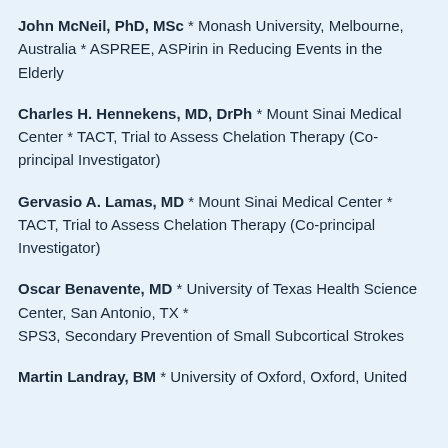John McNeil, PhD, MSc * Monash University, Melbourne, Australia * ASPREE, ASPirin in Reducing Events in the Elderly
Charles H. Hennekens, MD, DrPh * Mount Sinai Medical Center * TACT, Trial to Assess Chelation Therapy (Co-principal Investigator)
Gervasio A. Lamas, MD * Mount Sinai Medical Center * TACT, Trial to Assess Chelation Therapy (Co-principal Investigator)
Oscar Benavente, MD * University of Texas Health Science Center, San Antonio, TX * SPS3, Secondary Prevention of Small Subcortical Strokes
Martin Landray, BM * University of Oxford, Oxford, United